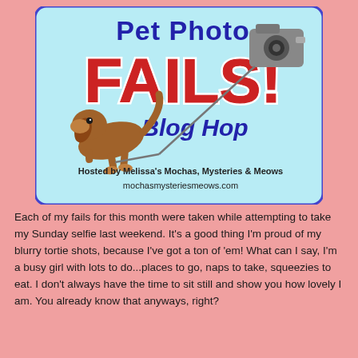[Figure (illustration): Pet Photo Fails Blog Hop banner with illustrated dog and camera on light blue background. Text reads: Pet Photo FAILS! Blog Hop. Hosted by Melissa's Mochas, Mysteries & Meows. mochasmysteriesmeows.com]
Each of my fails for this month were taken while attempting to take my Sunday selfie last weekend. It's a good thing I'm proud of my blurry tortie shots, because I've got a ton of 'em! What can I say, I'm a busy girl with lots to do...places to go, naps to take, squeezies to eat. I don't always have the time to sit still and show you how lovely I am. You already know that anyways, right?